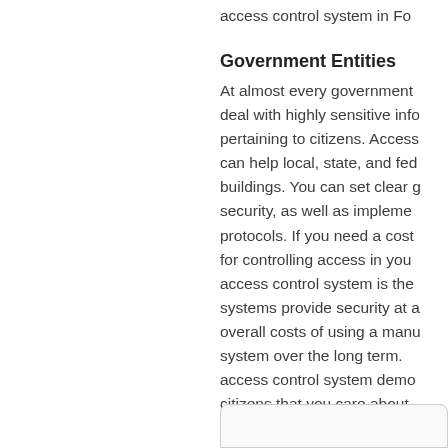access control system in Fo
Government Entities
At almost every government deal with highly sensitive info pertaining to citizens. Access can help local, state, and fed buildings. You can set clear g security, as well as impleme protocols. If you need a cost for controlling access in you access control system is the systems provide security at a overall costs of using a manu system over the long term.  b access control system demo citizens that you care about  as well as employee safety.